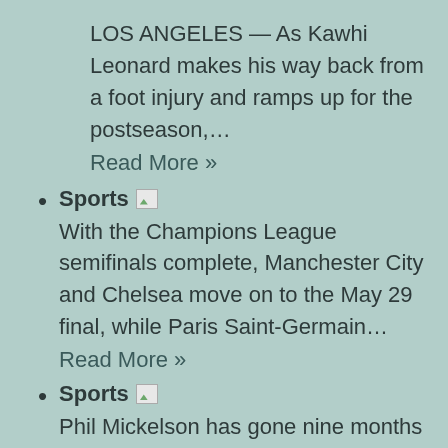LOS ANGELES — As Kawhi Leonard makes his way back from a foot injury and ramps up for the postseason,…
Read More »
Sports [image] With the Champions League semifinals complete, Manchester City and Chelsea move on to the May 29 final, while Paris Saint-Germain… Read More »
Sports [image] Phil Mickelson has gone nine months since he finished among the top 20, and